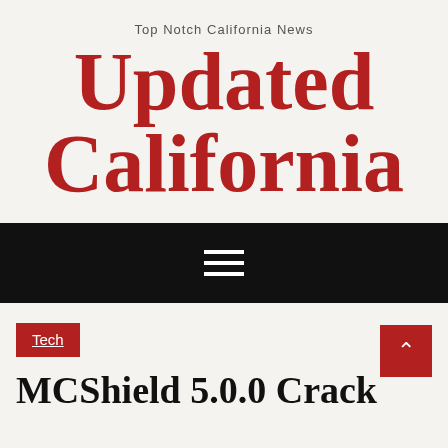Top Notch California News
Updated California
[Figure (other): Black navigation bar with hamburger menu icon (three white horizontal lines)]
Tech
MCShield 5.0.0 Crack